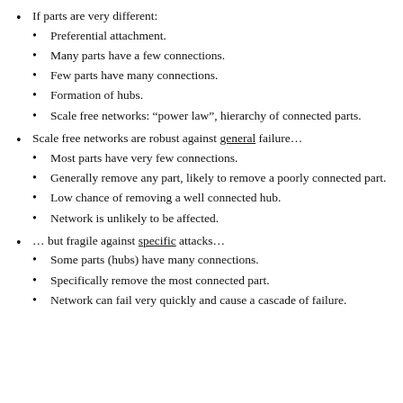If parts are very different:
Preferential attachment.
Many parts have a few connections.
Few parts have many connections.
Formation of hubs.
Scale free networks: “power law”, hierarchy of connected parts.
Scale free networks are robust against general failure…
Most parts have very few connections.
Generally remove any part, likely to remove a poorly connected part.
Low chance of removing a well connected hub.
Network is unlikely to be affected.
… but fragile against specific attacks…
Some parts (hubs) have many connections.
Specifically remove the most connected part.
Network can fail very quickly and cause a cascade of failure.